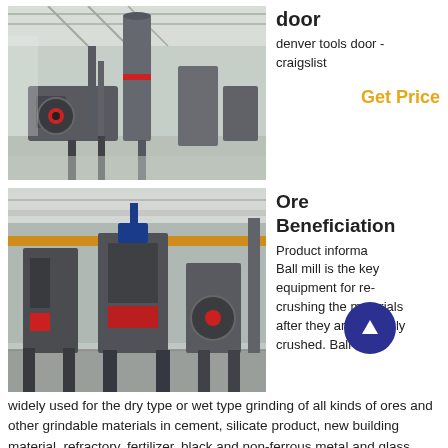[Figure (photo): Industrial machinery in a large warehouse/factory building — tall cylindrical equipment and large mechanical components on a concrete floor]
door
denver tools door - craigslist
Get Price
[Figure (photo): Industrial ore beneficiation equipment — large vertical crushing/pressing machines in a factory setting]
Ore Beneficiation
Product information Ball mill is the key equipment for re-crushing the materials after they are primarily crushed. Ball mill is widely used for the dry type or wet type grinding of all kinds of ores and other grindable materials in cement, silicate product, new building material, refractory, fertilizer, black and non-ferrous metal and glass ceramics industry.